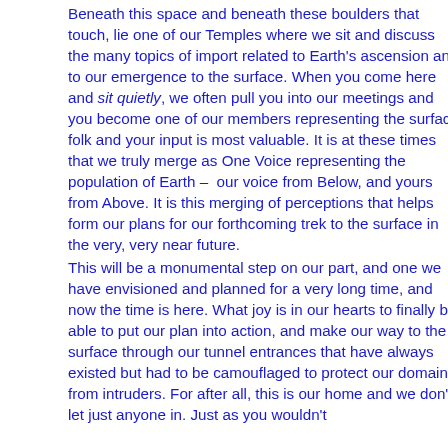Beneath this space and beneath these boulders that touch, lie one of our Temples where we sit and discuss the many topics of import related to Earth's ascension and to our emergence to the surface. When you come here and sit quietly, we often pull you into our meetings and you become one of our members representing the surface folk and your input is most valuable. It is at these times that we truly merge as One Voice representing the population of Earth – our voice from Below, and yours from Above. It is this merging of perceptions that helps form our plans for our forthcoming trek to the surface in the very, very near future.
This will be a monumental step on our part, and one we have envisioned and planned for a very long time, and now the time is here. What joy is in our hearts to finally be able to put our plan into action, and make our way to the surface through our tunnel entrances that have always existed but had to be camouflaged to protect our domain from intruders. For after all, this is our home and we don't let just anyone in. Just as you wouldn't